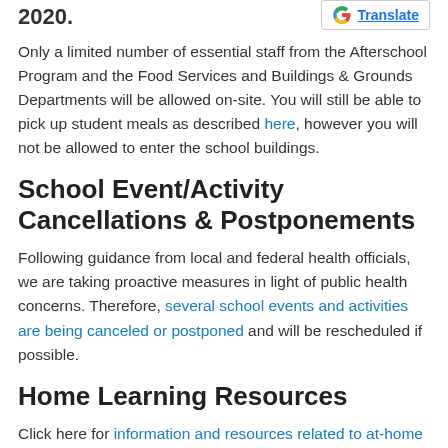2020.
[Figure (logo): Google Translate button with G logo]
Only a limited number of essential staff from the Afterschool Program and the Food Services and Buildings & Grounds Departments will be allowed on-site. You will still be able to pick up student meals as described here, however you will not be allowed to enter the school buildings.
School Event/Activity Cancellations & Postponements
Following guidance from local and federal health officials, we are taking proactive measures in light of public health concerns. Therefore, several school events and activities are being canceled or postponed and will be rescheduled if possible.
Home Learning Resources
Click here for information and resources related to at-home learning. It includes useful information